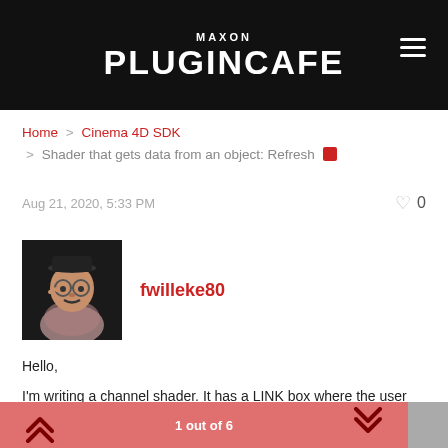MAXON PLUGINCAFE
Home > Cinema 4D SDK > Shader that gets data from an object: Refresh
Aug 21, 2020, 5:33 PM
fwilleke80
Hello,
I'm writing a channel shader. It has a LINK box where the user links an object from the scene. The object is also a plugin of mine. The shader gets some data from the object and renders it. It already works fine with editor and PV renders.
1 out of 6